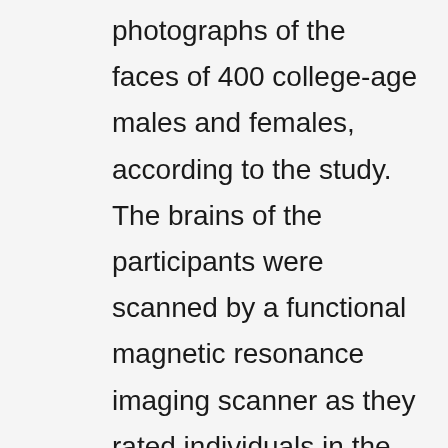photographs of the faces of 400 college-age males and females, according to the study. The brains of the participants were scanned by a functional magnetic resonance imaging scanner as they rated individuals in the images based on “how likeable they looked” and whether the person in the picture seemed like he or she would like the participant.

The researchers determined whether participants had high or low self-esteem